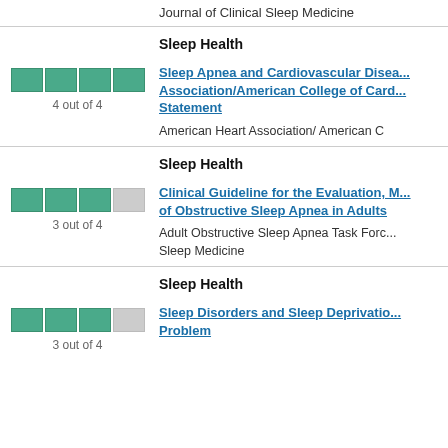Journal of Clinical Sleep Medicine
Sleep Health
[Figure (other): Rating bar showing 4 out of 4 filled green boxes]
4 out of 4
Sleep Apnea and Cardiovascular Disease: An American Heart Association/American College of Cardiology Foundation Scientific Statement
American Heart Association/ American C
Sleep Health
[Figure (other): Rating bar showing 3 out of 4 filled green boxes]
3 out of 4
Clinical Guideline for the Evaluation, Management and Long-term Care of Obstructive Sleep Apnea in Adults
Adult Obstructive Sleep Apnea Task Force of the American Academy of Sleep Medicine
Sleep Health
[Figure (other): Rating bar showing 3 out of 4 filled green boxes]
3 out of 4
Sleep Disorders and Sleep Deprivation: An Unmet Public Health Problem